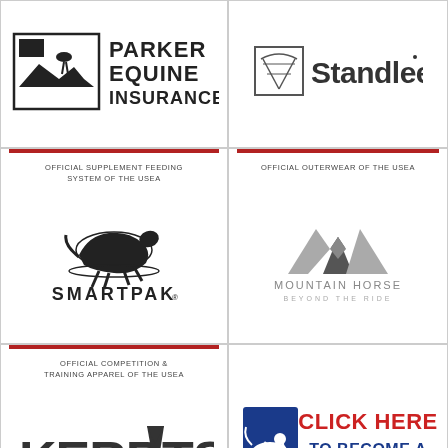[Figure (logo): Parker Equine Insurance logo with horse silhouette in rectangular frame]
[Figure (logo): Standlee logo with field/barn icon]
OFFICIAL SUPPLEMENT FEEDING SYSTEM OF THE USEA
[Figure (logo): SmartPak logo with running horse]
OFFICIAL OUTERWEAR OF THE USEA
[Figure (logo): Mountain Horse Beyond The Ride logo with mountain peak icon]
OFFICIAL COMPETITION & TRAINING APPAREL OF THE USEA
[Figure (logo): Kerrits logo]
[Figure (infographic): Click Here To Become A USEA Sponsor banner with USEA horse rider logo]